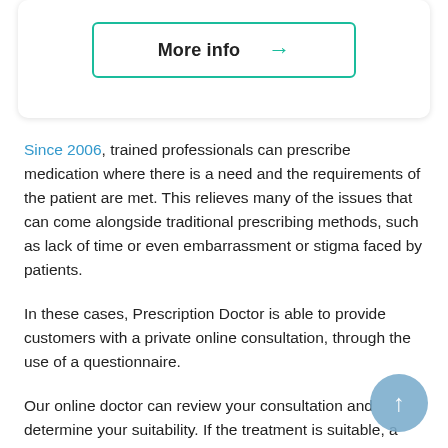[Figure (other): Card with a 'More info' button with a teal border and arrow]
Since 2006, trained professionals can prescribe medication where there is a need and the requirements of the patient are met. This relieves many of the issues that can come alongside traditional prescribing methods, such as lack of time or even embarrassment or stigma faced by patients.
In these cases, Prescription Doctor is able to provide customers with a private online consultation, through the use of a questionnaire.
Our online doctor can review your consultation and determine your suitability. If the treatment is suitable, a private prescription will be issued for our UK pharmacy to fulfil.